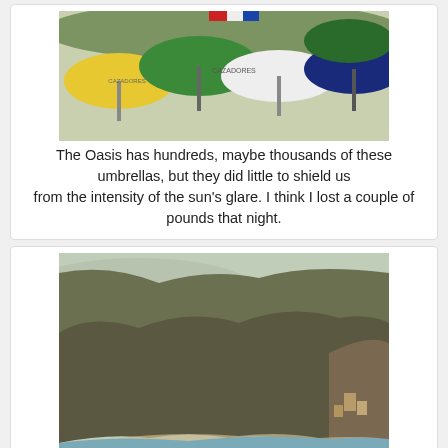[Figure (photo): Overhead view of colorful beach umbrellas (yellow, green, blue, white) with brand logos, at an outdoor venue called The Oasis]
The Oasis has hundreds, maybe thousands of these umbrellas, but they did little to shield us
from the intensity of the sun's glare. I think I lost a couple of pounds that night.
[Figure (photo): Aerial view of an Italian coastline (Amalfi Coast style) showing rocky cliffs covered in green vegetation, a curved sandy beach, and calm blue-green water]
All of us have been to Italy so we pretended that we were dining on the Amalfi Coast.
It was easy to imagine. I wish this picture had come out better, but you get the idea.